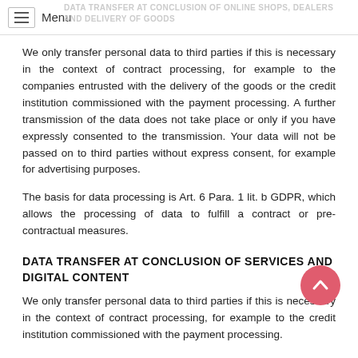Menu | DATA TRANSFER AT CONCLUSION OF ONLINE SHOPS, DEALERS AND DELIVERY OF GOODS
We only transfer personal data to third parties if this is necessary in the context of contract processing, for example to the companies entrusted with the delivery of the goods or the credit institution commissioned with the payment processing. A further transmission of the data does not take place or only if you have expressly consented to the transmission. Your data will not be passed on to third parties without express consent, for example for advertising purposes.
The basis for data processing is Art. 6 Para. 1 lit. b GDPR, which allows the processing of data to fulfill a contract or pre-contractual measures.
DATA TRANSFER AT CONCLUSION OF SERVICES AND DIGITAL CONTENT
We only transfer personal data to third parties if this is necessary in the context of contract processing, for example to the credit institution commissioned with the payment processing.